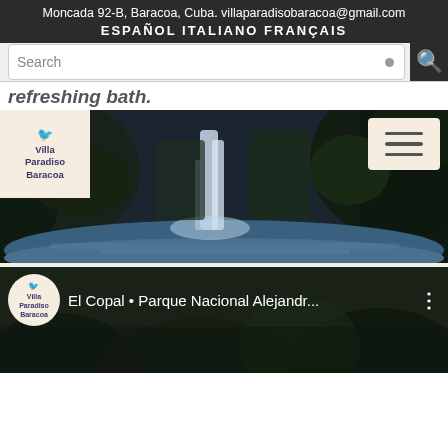Moncada 92-B, Baracoa, Cuba. villaparadisobaracoa@gmail.com
ESPAÑOL  ITALIANO  FRANÇAIS
Search
refreshing bath.
[Figure (photo): Waterfall in a lush forested area with a clear blue-green pool at the base, with Villa Paradiso Baracoa logo top-left and hamburger menu button top-right]
[Figure (screenshot): YouTube video thumbnail showing 'El Copal • Parque Nacional Alejandr...' with Villa Paradiso Baracoa channel icon and a forest/waterfall scene]